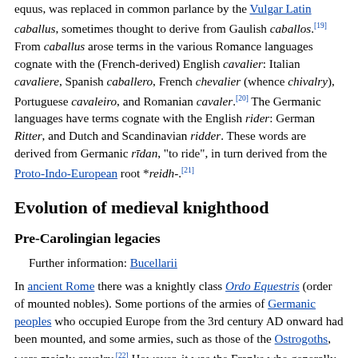equus, was replaced in common parlance by the Vulgar Latin caballus, sometimes thought to derive from Gaulish caballos.[19] From caballus arose terms in the various Romance languages cognate with the (French-derived) English cavalier: Italian cavaliere, Spanish caballero, French chevalier (whence chivalry), Portuguese cavaleiro, and Romanian cavaler.[20] The Germanic languages have terms cognate with the English rider: German Ritter, and Dutch and Scandinavian ridder. These words are derived from Germanic rīdan, "to ride", in turn derived from the Proto-Indo-European root *reidh-.[21]
Evolution of medieval knighthood
Pre-Carolingian legacies
Further information: Bucellarii
In ancient Rome there was a knightly class Ordo Equestris (order of mounted nobles). Some portions of the armies of Germanic peoples who occupied Europe from the 3rd century AD onward had been mounted, and some armies, such as those of the Ostrogoths, were mainly cavalry.[22] However, it was the Franks who generally fielded armies composed of large masses of infantry, with an infantry elite, the comitatus, which often rode to